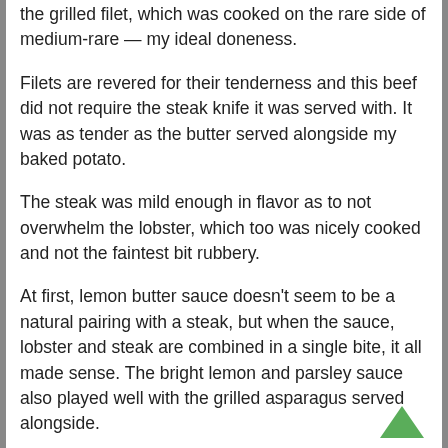the grilled filet, which was cooked on the rare side of medium-rare — my ideal doneness.
Filets are revered for their tenderness and this beef did not require the steak knife it was served with. It was as tender as the butter served alongside my baked potato.
The steak was mild enough in flavor as to not overwhelm the lobster, which too was nicely cooked and not the faintest bit rubbery.
At first, lemon butter sauce doesn't seem to be a natural pairing with a steak, but when the sauce, lobster and steak are combined in a single bite, it all made sense. The bright lemon and parsley sauce also played well with the grilled asparagus served alongside.